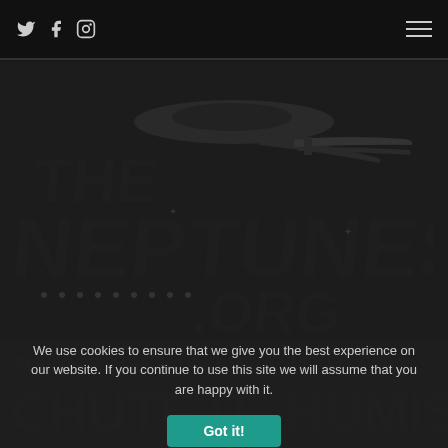Social icons: Twitter, Facebook, Instagram | Hamburger menu
[Figure (logo): The Neptunes .org logo with Star Trek-style spaceship silhouette above bold stylized text 'THE NEPTUNES .ORG' on dark background]
PHARRELL'S NEW ADIDAS
We use cookies to ensure that we give you the best experience on our website. If you continue to use this site we will assume that you are happy with it.
Got it!